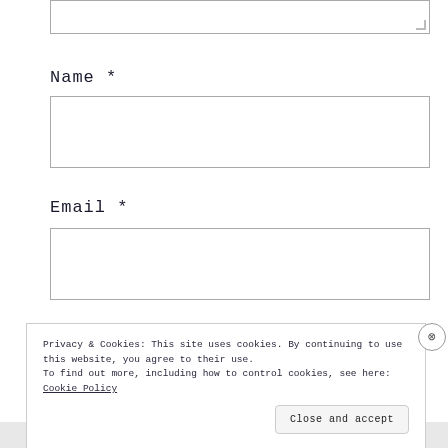Name *
Email *
Privacy & Cookies: This site uses cookies. By continuing to use this website, you agree to their use.
To find out more, including how to control cookies, see here: Cookie Policy
Close and accept